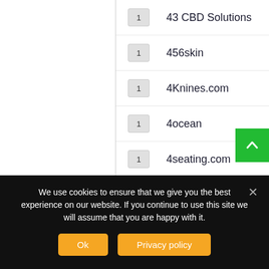1  43 CBD Solutions
1  456skin
1  4Knines.com
1  4ocean
1  4seating.com
1  4th Ave Market
1  4TheOutdoors
1  4WD Supacentre
1  4wheelonline.com
We use cookies to ensure that we give you the best experience on our website. If you continue to use this site we will assume that you are happy with it.
Ok
Privacy policy